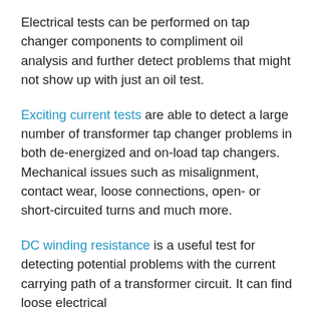Electrical tests can be performed on tap changer components to compliment oil analysis and further detect problems that might not show up with just an oil test.
Exciting current tests are able to detect a large number of transformer tap changer problems in both de-energized and on-load tap changers. Mechanical issues such as misalignment, contact wear, loose connections, open- or short-circuited turns and much more.
DC winding resistance is a useful test for detecting potential problems with the current carrying path of a transformer circuit. It can find loose electrical